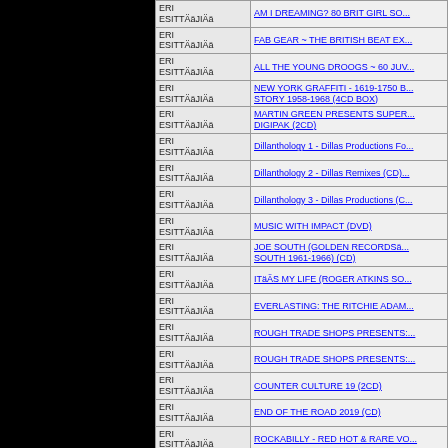| Artist | Title |
| --- | --- |
| ERI ESITTÄÄJIÄä | AM I DREAMING? 80 BRIT GIRL SO... |
| ERI ESITTÄÄJIÄä | FAB GEAR ~ THE BRITISH BEAT EX... |
| ERI ESITTÄÄJIÄä | ALL THE YOUNG DROOGS ~ 60 JUV... |
| ERI ESITTÄÄJIÄä | NEW YORK GRAFFITI - 1619-1750 B... STORY 1958-1968 (4CD BOX) |
| ERI ESITTÄÄJIÄä | MARTIN GREEN PRESENTS SUPER... DIGIPAK (2CD) |
| ERI ESITTÄÄJIÄä | Dillanthology 1 - Dillas Productions Fo... |
| ERI ESITTÄÄJIÄä | Dillanthology 2 - Dillas Remixes (CD)... |
| ERI ESITTÄÄJIÄä | Dillanthology 3 - Dillas Productions (C... |
| ERI ESITTÄÄJIÄä | MUSIC WITH IMPACT (DVD) |
| ERI ESITTÄÄJIÄä | JOE SOUTH (GOLDEN RECORDSä... SOUTH 1961-1966) (CD) |
| ERI ESITTÄÄJIÄä | ITäÄS MY LIFE (ROGER ATKINS SO... |
| ERI ESITTÄÄJIÄä | EVERLASTING: THE RITCHIE ADAM... |
| ERI ESITTÄÄJIÄä | ROUGH TRADE SHOPS PRESENTS:... |
| ERI ESITTÄÄJIÄä | ROUGH TRADE SHOPS PRESENTS:... |
| ERI ESITTÄÄJIÄä | COUNTER CULTURE 19 (2CD) |
| ERI ESITTÄÄJIÄä | END OF THE ROAD 2019 (CD) |
| ERI ESITTÄÄJIÄä | ROCKABILLY - RED HOT & RARE VO... |
| ERI ESITTÄÄJIÄä | BLUES HARP WOMEN (2CD) |
| ERI ESITTÄÄJIÄä |  |